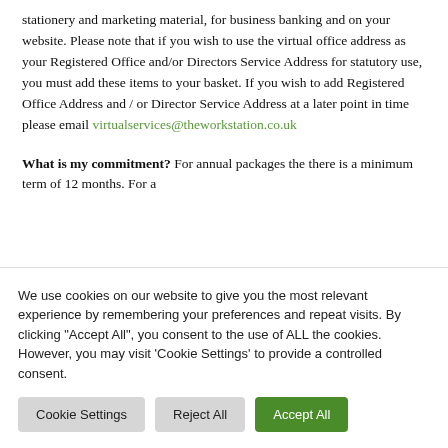stationery and marketing material, for business banking and on your website.  Please note that if you wish to use the virtual office address as your Registered Office and/or Directors Service Address for statutory use, you must add these items to your basket.  If you wish to add Registered Office Address and / or Director Service Address at a later point in time please email virtualservices@theworkstation.co.uk
What is my commitment? For annual packages the there is a minimum term of 12 months. For a
We use cookies on our website to give you the most relevant experience by remembering your preferences and repeat visits. By clicking "Accept All", you consent to the use of ALL the cookies. However, you may visit 'Cookie Settings' to provide a controlled consent.